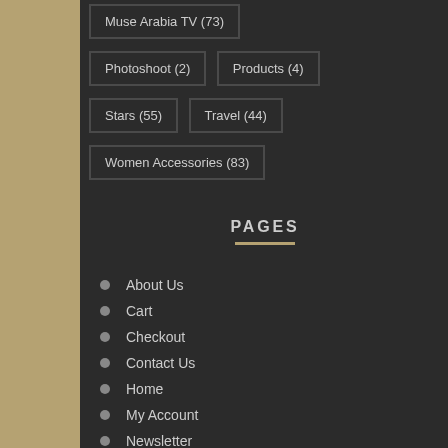Muse Arabia TV (73)
Photoshoot (2)
Products (4)
Stars (55)
Travel (44)
Women Accessories (83)
PAGES
About Us
Cart
Checkout
Contact Us
Home
My Account
Newsletter
Shop